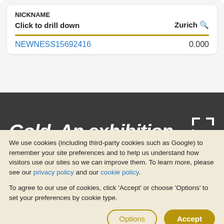NICKNAME
Click to drill down    Zurich 🔍
NEWNESS15692416    0.000
[Figure (screenshot): Dark banner showing 'Gold. An exhibition' text in bold italic white on dark background with resize icon at right]
We use cookies (including third-party cookies such as Google) to remember your site preferences and to help us understand how visitors use our sites so we can improve them. To learn more, please see our privacy policy and our cookie policy.
To agree to our use of cookies, click 'Accept' or choose 'Options' to set your preferences by cookie type.